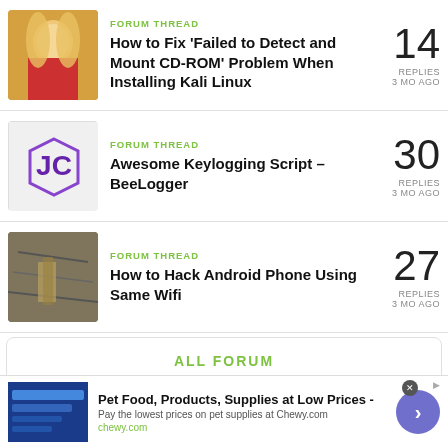FORUM THREAD
How to Fix 'Failed to Detect and Mount CD-ROM' Problem When Installing Kali Linux
14 REPLIES 3 MO AGO
FORUM THREAD
Awesome Keylogging Script - BeeLogger
30 REPLIES 3 MO AGO
FORUM THREAD
How to Hack Android Phone Using Same Wifi
27 REPLIES 3 MO AGO
ALL FORUM
Pet Food, Products, Supplies at Low Prices - Pay the lowest prices on pet supplies at Chewy.com chewy.com